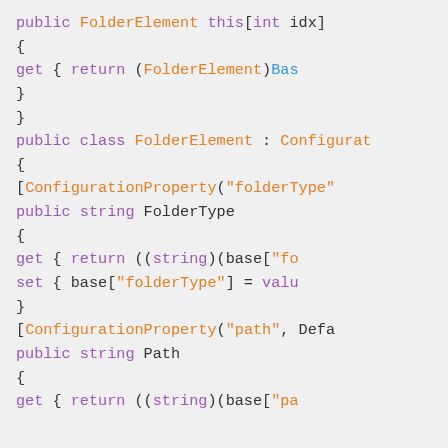[Figure (screenshot): Code snippet showing C# class definitions for FolderElement with ConfigurationProperty attributes, public string FolderType and Path properties with get/set accessors]